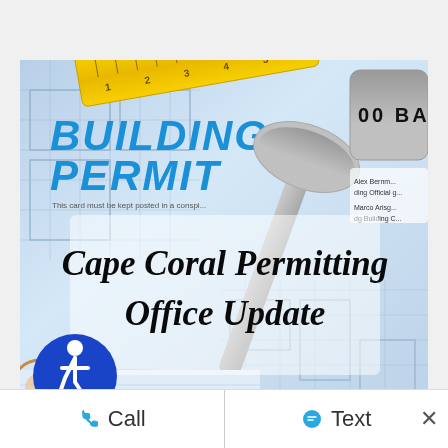[Figure (photo): Building permit document with blueprint plans, yellow tape measure, metal hammer/tool, and overlay text reading 'Cape Coral Permitting Office Update'. A blue accessibility icon is in the lower left corner of the image.]
Cape Coral Permitting Office Update
Call
Text